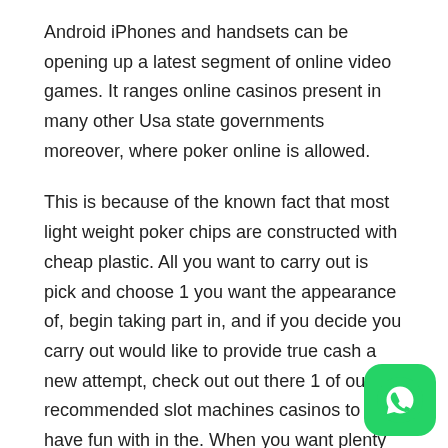Android iPhones and handsets can be opening up a latest segment of online video games. It ranges online casinos present in many other Usa state governments moreover, where poker online is allowed.
This is because of the known fact that most light weight poker chips are constructed with cheap plastic. All you want to carry out is pick and choose 1 you want the appearance of, begin taking part in, and if you decide you carry out would like to provide true cash a new attempt, check out out there 1 of our recommended slot machines casinos to have fun with in the. When you want plenty of issues on the subject of the desks, consider using Caribbean Stud Poker, Poker Lobby, Three Card Poker, and Casino Hold'em. The poker chip processing company of Paulson's has dedicated a set of their fine chips to this show.
[Figure (logo): WhatsApp icon button — green rounded square with white phone handset icon]